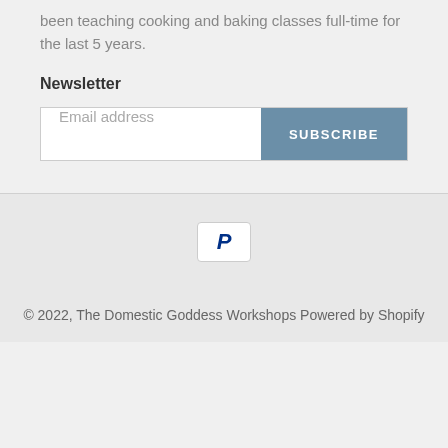been teaching cooking and baking classes full-time for the last 5 years.
Newsletter
[Figure (screenshot): Email address input field with Subscribe button]
[Figure (logo): PayPal logo icon (P)]
© 2022, The Domestic Goddess Workshops Powered by Shopify